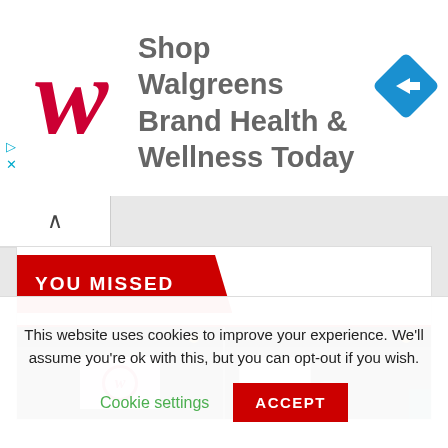[Figure (screenshot): Walgreens advertisement banner with red cursive W logo, text 'Shop Walgreens Brand Health & Wellness Today', and a blue diamond navigation icon on the right]
[Figure (screenshot): Website content area showing a 'YOU MISSED' section header in red with angled banner and a dark-themed photo strip below showing Walgreens store imagery]
This website uses cookies to improve your experience. We'll assume you're ok with this, but you can opt-out if you wish.
Cookie settings
ACCEPT